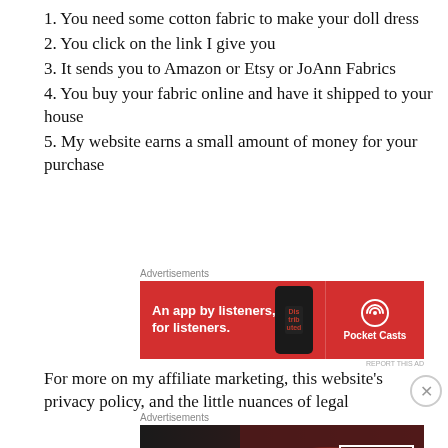1. You need some cotton fabric to make your doll dress
2. You click on the link I give you
3. It sends you to Amazon or Etsy or JoAnn Fabrics
4. You buy your fabric online and have it shipped to your house
5. My website earns a small amount of money for your purchase
[Figure (other): Advertisement banner for Pocket Casts app: red background with phone graphic, text 'An app by listeners, for listeners.' and Pocket Casts logo]
For more on my affiliate marketing, this website’s privacy policy, and the little nuances of legal
[Figure (other): Advertisement banner for Macy’s: dark background with woman's face, text 'KISS BORING LIPS GOODBYE' and 'SHOP NOW' button with Macy's star logo]